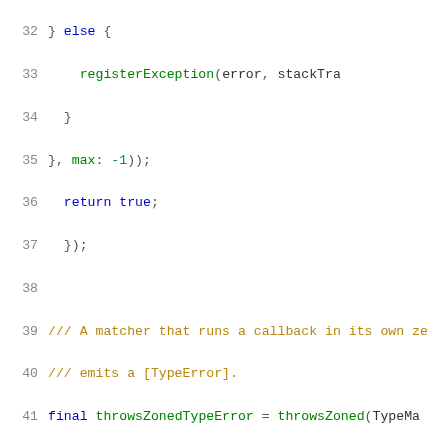Code snippet showing Dart/Flutter code lines 32-52 including closures, comments, class declarations, and method overrides